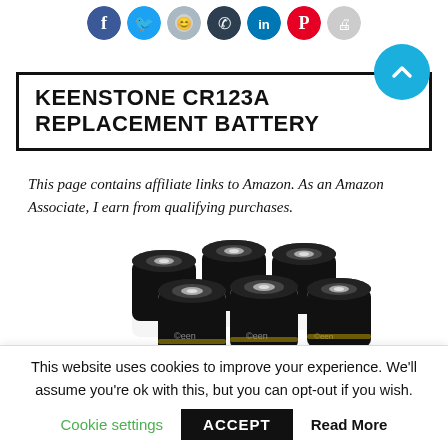[Figure (other): Row of social media share icons (Facebook, Twitter, emoji/face, phone/Telegram, LinkedIn, Pinterest, print) as colored circles, plus a teal scroll-to-top button]
KEENSTONE CR123A REPLACEMENT BATTERY
This page contains affiliate links to Amazon. As an Amazon Associate, I earn from qualifying purchases.
[Figure (photo): Group of Keenstone CR123A lithium batteries arranged in a cluster, viewed from above, showing black and white cylindrical batteries with metallic tops]
This website uses cookies to improve your experience. We'll assume you're ok with this, but you can opt-out if you wish.
Cookie settings   ACCEPT   Read More